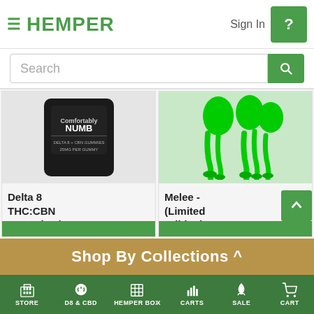HEMPER — Sign In
Search
Delta 8 THC:CBN Gummies | 25mg — $29.99
Melee - (Limited Edition) Mutant Radioactive Gummies | 780MG — $39.99 ($49.99)
Shop By Collections ^
STORE | D8 & CBD | HEMPER BOX | CARTS | SALE | CART